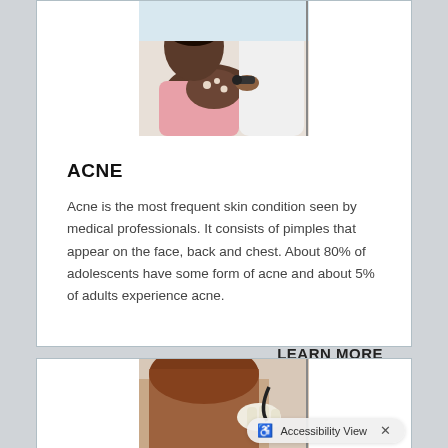[Figure (photo): A medical professional examining a patient's skin on their arm with a dermatoscope.]
ACNE
Acne is the most frequent skin condition seen by medical professionals. It consists of pimples that appear on the face, back and chest. About 80% of adolescents have some form of acne and about 5% of adults experience acne.
LEARN MORE
[Figure (photo): A medical professional examining a patient's back/neck skin, with the patient having long auburn hair.]